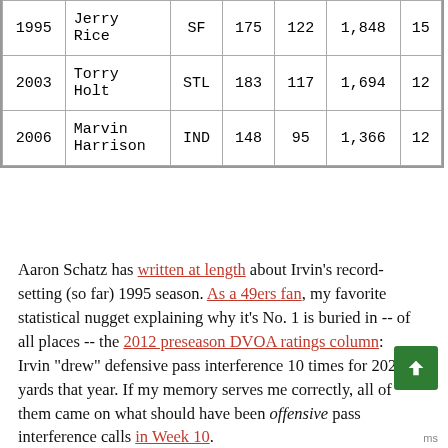| Year | Player | Team | Tgt | Rec | Yds | TD |
| --- | --- | --- | --- | --- | --- | --- |
| 1995 | Jerry Rice | SF | 175 | 122 | 1,848 | 15 |
| 2003 | Torry Holt | STL | 183 | 117 | 1,694 | 12 |
| 2006 | Marvin Harrison | IND | 148 | 95 | 1,366 | 12 |
Aaron Schatz has written at length about Irvin's record-setting (so far) 1995 season. As a 49ers fan, my favorite statistical nugget explaining why it's No. 1 is buried in -- of all places -- the 2012 preseason DVOA ratings column: Irvin "drew" defensive pass interference 10 times for 202 yards that year. If my memory serves me correctly, all of them came on what should have been offensive pass interference calls in Week 10.